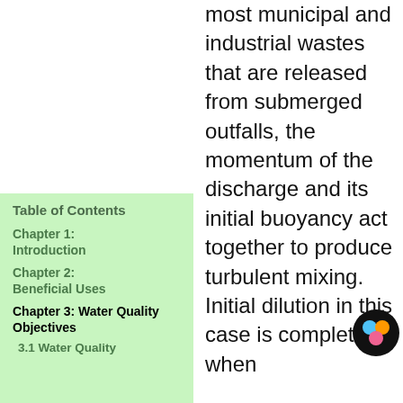most municipal and industrial wastes that are released from submerged outfalls, the momentum of the discharge and its initial buoyancy act together to produce turbulent mixing. Initial dilution in this case is completed when
Table of Contents
Chapter 1: Introduction
Chapter 2: Beneficial Uses
Chapter 3: Water Quality Objectives
3.1 Water Quality